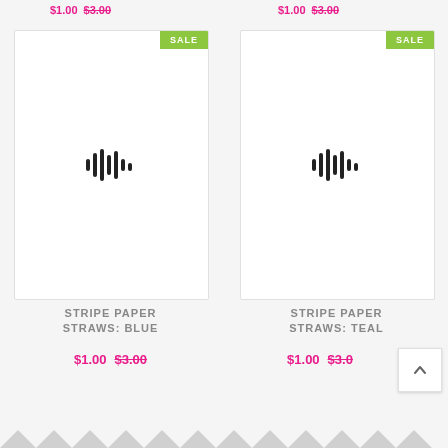$1.00  $3.00
$1.00  $3.00
[Figure (screenshot): Product card with SALE badge and sound wave placeholder icon for Stripe Paper Straws: Blue]
[Figure (screenshot): Product card with SALE badge and sound wave placeholder icon for Stripe Paper Straws: Teal]
STRIPE PAPER STRAWS: BLUE
$1.00  $3.00
STRIPE PAPER STRAWS: TEAL
$1.00  $3.00